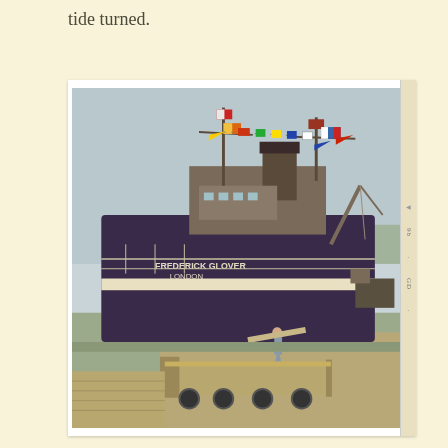tide turned.
[Figure (photo): A vintage color photograph of a large cargo ship named 'Frederick Glover, London' docked at a port. The ship is decorated with many colorful signal flags. A person stands on the dock near the gangway. In the foreground, a flat cargo trolley/cart is visible on the pier. A crane is visible on the right side of the ship.]